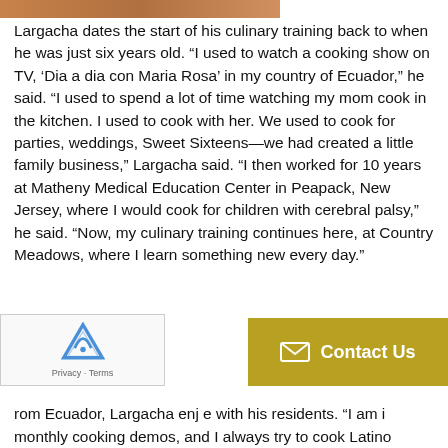[Figure (photo): Partial photo strip visible at top of page]
Largacha dates the start of his culinary training back to when he was just six years old. “I used to watch a cooking show on TV, ‘Dia a dia con Maria Rosa’ in my country of Ecuador,” he said. “I used to spend a lot of time watching my mom cook in the kitchen. I used to cook with her. We used to cook for parties, weddings, Sweet Sixteens—we had created a little family business,” Largacha said. “I then worked for 10 years at Matheny Medical Education Center in Peapack, New Jersey, where I would cook for children with cerebral palsy,” he said. “Now, my culinary training continues here, at Country Meadows, where I learn something new every day.”
rom Ecuador, Largacha enj… e with his residents. “I am i… monthly cooking demos, and I always try to cook Latino